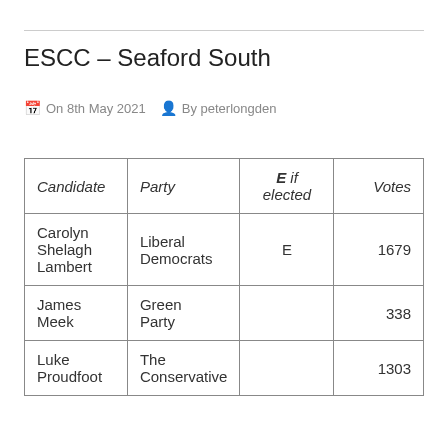ESCC – Seaford South
On 8th May 2021   By peterlongden
| Candidate | Party | E if elected | Votes |
| --- | --- | --- | --- |
| Carolyn Shelagh Lambert | Liberal Democrats | E | 1679 |
| James Meek | Green Party |  | 338 |
| Luke Proudfoot | The Conservative |  | 1303 |